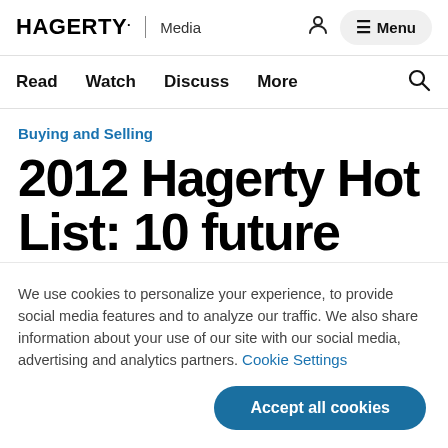HAGERTY | Media  [person icon]  ☰ Menu
Read  Watch  Discuss  More  [search icon]
Buying and Selling
2012 Hagerty Hot List: 10 future
We use cookies to personalize your experience, to provide social media features and to analyze our traffic. We also share information about your use of our site with our social media, advertising and analytics partners. Cookie Settings
Accept all cookies